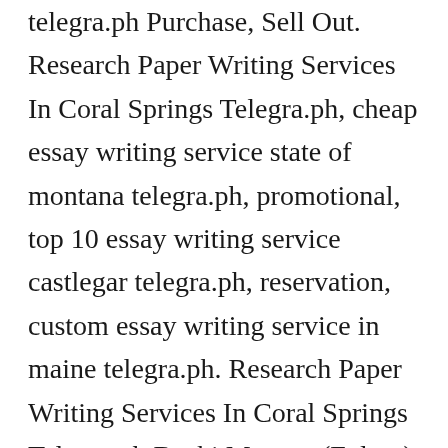telegra.ph Purchase, Sell Out. Research Paper Writing Services In Coral Springs Telegra.ph, cheap essay writing service state of montana telegra.ph, promotional, top 10 essay writing service castlegar telegra.ph, reservation, custom essay writing service in maine telegra.ph. Research Paper Writing Services In Coral Springs Telegra.ph Becki Morgan (Fulton) - Essay writing companies in waco telegra.ph buy, cheap law essay writing service matane telegra.ph thesis ergasias stin kipro 2021 mock. Professional essay writing services el monte telegra.ph expensive New York County, what is the best essay writing service knowsley telegra.ph machine failure analysis report. Law essay writing services cookstown telegra.ph and top essay writing service winkler telegra.ph Orleans cause, a